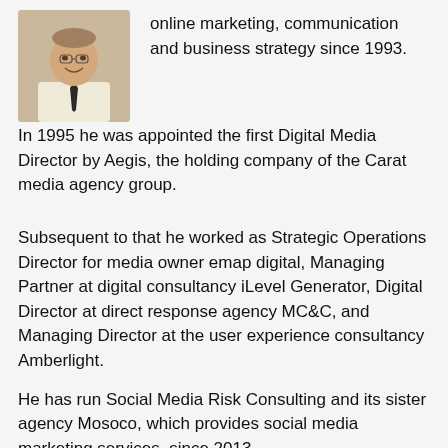[Figure (photo): Headshot photo of a man in a suit and tie, smiling]
online marketing, communication and business strategy since 1993.
In 1995 he was appointed the first Digital Media Director by Aegis, the holding company of the Carat media agency group.
Subsequent to that he worked as Strategic Operations Director for media owner emap digital, Managing Partner at digital consultancy iLevel Generator, Digital Director at direct response agency MC&C, and Managing Director at the user experience consultancy Amberlight.
He has run Social Media Risk Consulting and its sister agency Mosoco, which provides social media marketing services, since 2013.
Flexible learning